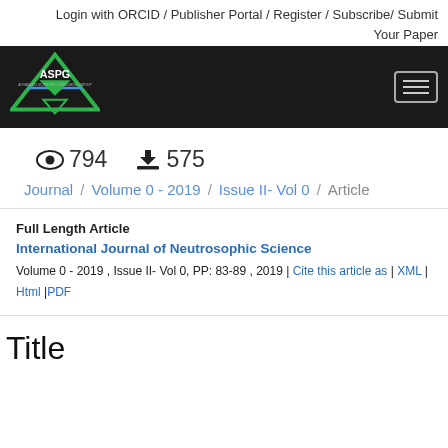Login with ORCID / Publisher Portal / Register / Subscribe/ Submit Your Paper
[Figure (logo): ASPG logo — green and blue downward-pointing triangle with ASPG text, on black background header bar]
794 views   575 downloads
Journal / Volume 0 - 2019 / Issue II- Vol 0 / Article
Full Length Article
International Journal of Neutrosophic Science
Volume 0 - 2019 , Issue II- Vol 0, PP: 83-89 , 2019 | Cite this article as | XML | Html |PDF
Title